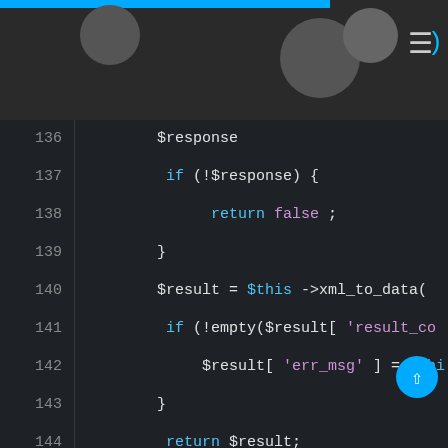[Figure (screenshot): PHP code editor screenshot showing lines 136-152 with syntax highlighting on dark background. Code includes $response assignment, if (!$response) check with return false, $result = $this->xml_to_data() call, if (!empty($result['result_co...]) block, return $result, closing braces, a PHPDoc comment block with @param $out_trade_no and @return array annotations, and beginning of public function closeOrder($out...]